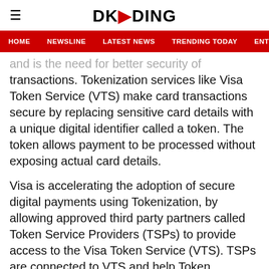DKODING
HOME  NEWSLINE  LATEST NEWS  TRENDING TODAY  ENT
and is the need for better security of transactions. Tokenization services like Visa Token Service (VTS) make card transactions secure by replacing sensitive card details with a unique digital identifier called a token. The token allows payment to be processed without exposing actual card details.
Visa is accelerating the adoption of secure digital payments using Tokenization, by allowing approved third party partners called Token Service Providers (TSPs) to provide access to the Visa Token Service (VTS). TSPs are connected to VTS and help Token Requestors (TRs); which includes entities like